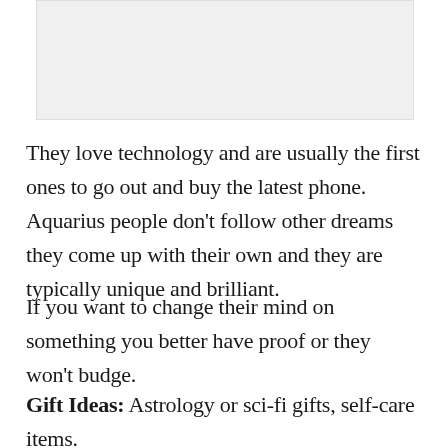[Figure (other): Image placeholder at top of page]
They love technology and are usually the first ones to go out and buy the latest phone. Aquarius people don't follow other dreams they come up with their own and they are typically unique and brilliant.
If you want to change their mind on something you better have proof or they won't budge.
Gift Ideas: Astrology or sci-fi gifts, self-care items.